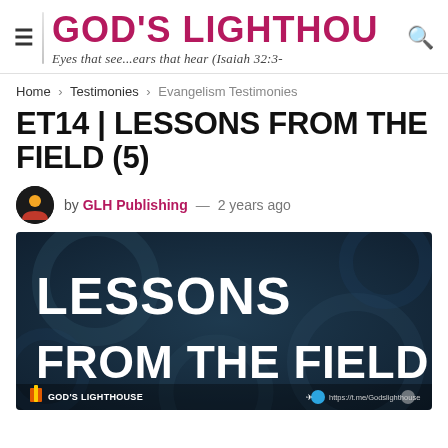GOD'S LIGHTHOUSE — Eyes that see...ears that hear (Isaiah 32:3-
Home > Testimonies > Evangelism Testimonies
ET14 | LESSONS FROM THE FIELD (5)
by GLH Publishing — 2 years ago
[Figure (illustration): Dark blue/teal decorative background with large bold white text reading 'LESSONS FROM THE FIELD (5)', God's Lighthouse branding at bottom with logo and Telegram link https://t.me/Godslighthouse]